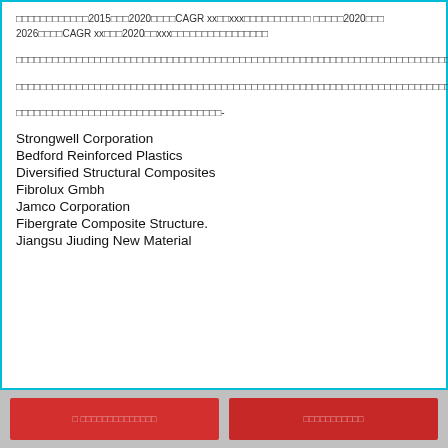□□□□□□□□□□□□2015□□□2020□□□□CAGR xx□□xxx□□□□□□□□□□□ □□□□□2020□□□2026□□□□CAGR xx□□□2020□□xxx□□□□□□□□□□□□□□□□□
□□□□□□□□□□□□□□□□□□□□□□□□□□□□□□□□□□□□□□□□□□□□□□□□□□□□□□□□□□□□□□□□□□□□□□□□□□□□□□□□□□□□□□□□□□□□□□□□□□□□□□□□□□□□□□□□□□□□□□□□□□□□□□□□□□□□□□□□□
□□□□□□□□□□□□□□□□□□□□□□□□□□□□□□□□□□□□□□□□□□□□□□□□□□□□□□□□□□□□□□□□□□□□□□□□□□□□□□□□□□□□□□□□□□
□□□□□□□□□□□□□□□□□□□□□□□□□□□□□□□□□□-
Strongwell Corporation
Bedford Reinforced Plastics
Diversified Structural Composites
Fibrolux Gmbh
Jamco Corporation
Fibergrate Composite Structure.
Jiangsu Jiuding New Material
□ □□□□□□□□□□□□□□    □□□□□□□□□□□